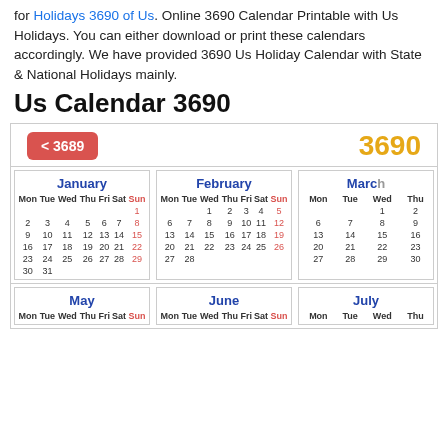for Holidays 3690 of Us. Online 3690 Calendar Printable with Us Holidays. You can either download or print these calendars accordingly. We have provided 3690 Us Holiday Calendar with State & National Holidays mainly.
Us Calendar 3690
[Figure (other): Calendar widget for year 3690 showing January, February, March (top row) and May, June, July (bottom row, partial). Navigation button '< 3689' and year '3690' shown in orange.]